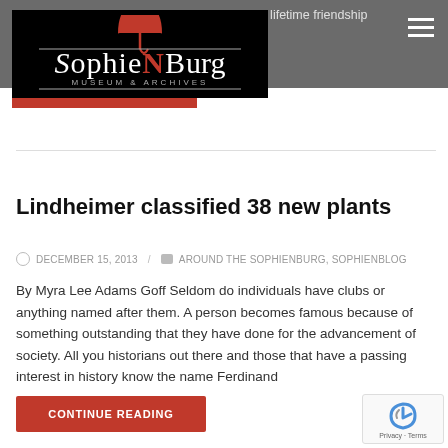and their lifetime friendship
[Figure (logo): SophieNBurg Museum & Archives logo — black background with red umbrella icon above stylized text]
Lindheimer classified 38 new plants
DECEMBER 15, 2013 / AROUND THE SOPHIENBURG, SOPHIENBLOG
By Myra Lee Adams Goff Seldom do individuals have clubs or anything named after them. A person becomes famous because of something outstanding that they have done for the advancement of society. All you historians out there and those that have a passing interest in history know the name Ferdinand
CONTINUE READING